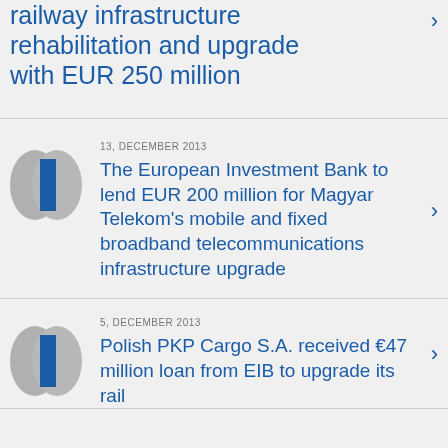railway infrastructure rehabilitation and upgrade with EUR 250 million
13, DECEMBER 2013
The European Investment Bank to lend EUR 200 million for Magyar Telekom's mobile and fixed broadband telecommunications infrastructure upgrade
5, DECEMBER 2013
Polish PKP Cargo S.A. received €47 million loan from EIB to upgrade its rail